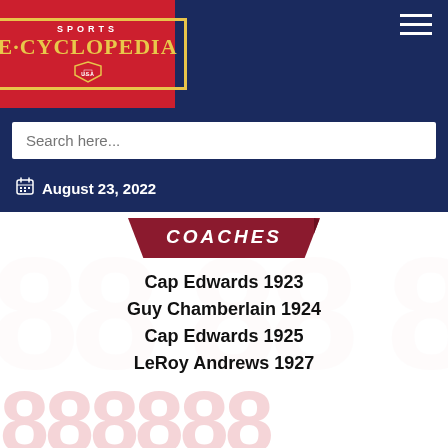[Figure (logo): Sports E-Cyclopedia logo — red background with yellow-bordered shield text in serif font, white navigation bar with hamburger menu]
Search here...
August 23, 2022
COACHES
Cap Edwards 1923
Guy Chamberlain 1924
Cap Edwards 1925
LeRoy Andrews 1927